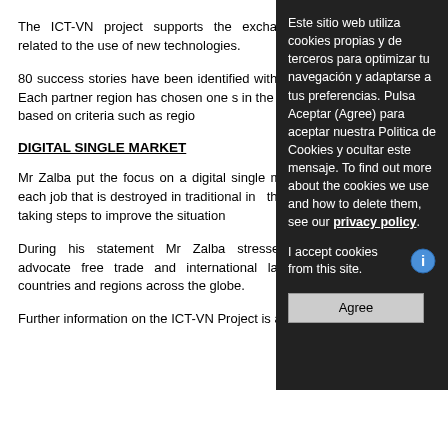The ICT-VN project supports the exchange of related to the use of new technologies.
80 success stories have been identified with SMEs. Each partner region has chosen one s in the project, based on criteria such as region
DIGITAL SINGLE MARKET
Mr Zalba put the focus on a digital single mar for each job that is destroyed in traditional in the EU is taking steps to improve the situation
During his statement Mr Zalba stressed that advocate free trade and international law. For countries and regions across the globe.
Further information on the ICT-VN Project is a
Este sitio web utiliza cookies propias y de terceros para optimizar tu navegación y adaptarse a tus preferencias. Pulsa Aceptar (Agree) para aceptar nuestra Politica de Cookies y ocultar este mensaje. To find out more about the cookies we use and how to delete them, see our privacy policy.

I accept cookies from this site.

Agree